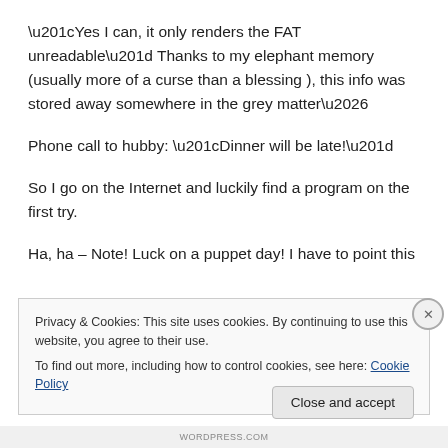“Yes I can, it only renders the FAT unreadable” Thanks to my elephant memory (usually more of a curse than a blessing ), this info was stored away somewhere in the grey matter…
Phone call to hubby: “Dinner will be late!”
So I go on the Internet and luckily find a program on the first try.
Ha, ha – Note! Luck on a puppet day! I have to point this
Privacy & Cookies: This site uses cookies. By continuing to use this website, you agree to their use.
To find out more, including how to control cookies, see here: Cookie Policy
Close and accept